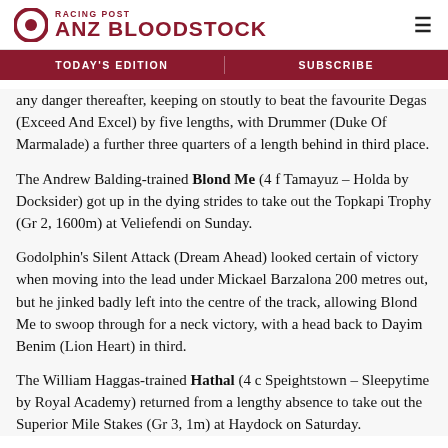RACING POST ANZ BLOODSTOCK
TODAY'S EDITION | SUBSCRIBE
any danger thereafter, keeping on stoutly to beat the favourite Degas (Exceed And Excel) by five lengths, with Drummer (Duke Of Marmalade) a further three quarters of a length behind in third place.
The Andrew Balding-trained Blond Me (4 f Tamayuz – Holda by Docksider) got up in the dying strides to take out the Topkapi Trophy (Gr 2, 1600m) at Veliefendi on Sunday.
Godolphin's Silent Attack (Dream Ahead) looked certain of victory when moving into the lead under Mickael Barzalona 200 metres out, but he jinked badly left into the centre of the track, allowing Blond Me to swoop through for a neck victory, with a head back to Dayim Benim (Lion Heart) in third.
The William Haggas-trained Hathal (4 c Speightstown – Sleepytime by Royal Academy) returned from a lengthy absence to take out the Superior Mile Stakes (Gr 3, 1m) at Haydock on Saturday.